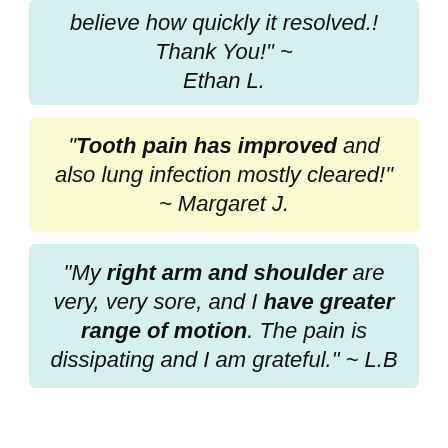believe how quickly it resolved.! Thank You!" ~ Ethan L.
“Tooth pain has improved and also lung infection mostly cleared!” ~ Margaret J.
“My right arm and shoulder are very, very sore, and I have greater range of motion. The pain is dissipating and I am grateful.” ~ L.B